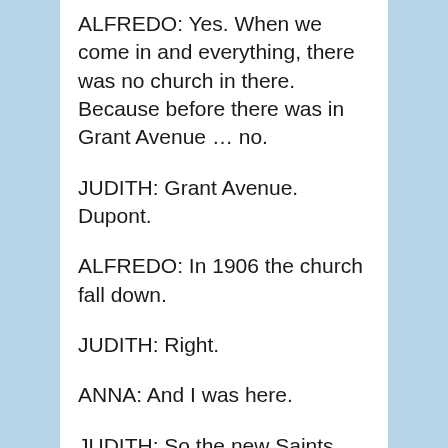ALFREDO: Yes. When we come in and everything, there was no church in there. Because before there was in Grant Avenue … no.
JUDITH: Grant Avenue. Dupont.
ALFREDO: In 1906 the church fall down.
JUDITH: Right.
ANNA: And I was here.
JUDITH: So the new Saints Peter and Paul…
ALFREDO: That's right.